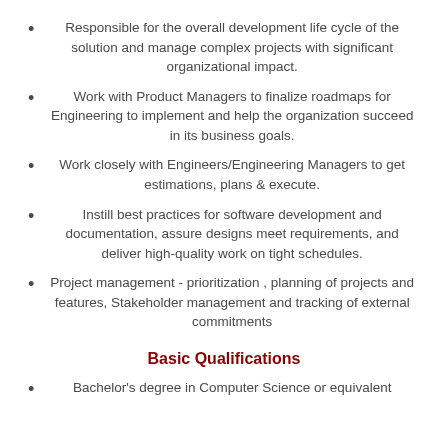Responsible for the overall development life cycle of the solution and manage complex projects with significant organizational impact.
Work with Product Managers to finalize roadmaps for Engineering to implement and help the organization succeed in its business goals.
Work closely with Engineers/Engineering Managers to get estimations, plans & execute.
Instill best practices for software development and documentation, assure designs meet requirements, and deliver high-quality work on tight schedules.
Project management - prioritization , planning of projects and features, Stakeholder management and tracking of external commitments
Basic Qualifications
Bachelor's degree in Computer Science or equivalent